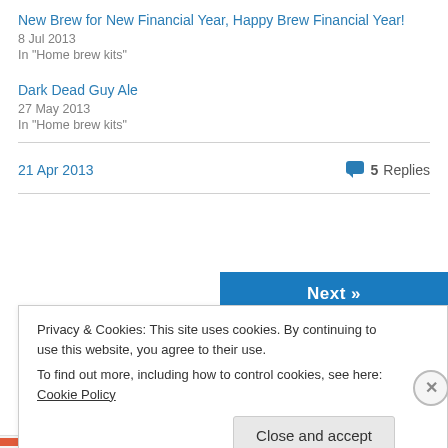New Brew for New Financial Year, Happy Brew Financial Year!
8 Jul 2013
In "Home brew kits"
Dark Dead Guy Ale
27 May 2013
In "Home brew kits"
21 Apr 2013
5 Replies
Next »
Privacy & Cookies: This site uses cookies. By continuing to use this website, you agree to their use.
To find out more, including how to control cookies, see here: Cookie Policy
Close and accept